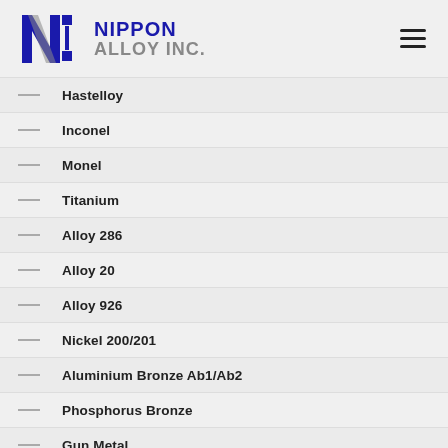Nippon Alloy Inc.
Hastelloy
Inconel
Monel
Titanium
Alloy 286
Alloy 20
Alloy 926
Nickel 200/201
Aluminium Bronze Ab1/Ab2
Phosphorus Bronze
Gun Metal
Brass